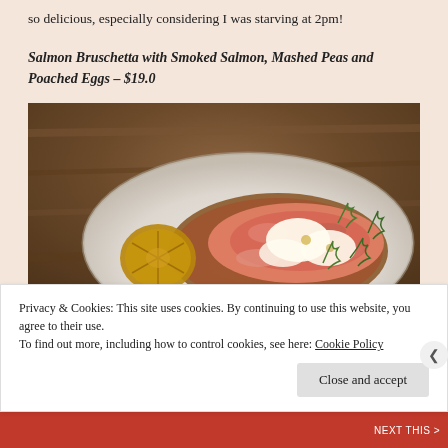so delicious, especially considering I was starving at 2pm!
Salmon Bruschetta with Smoked Salmon, Mashed Peas and Poached Eggs – $19.0
[Figure (photo): A plate with salmon bruschetta topped with smoked salmon, poached eggs, and dill garnish, with a roasted lemon half on the side, on a white plate with a wooden background.]
Privacy & Cookies: This site uses cookies. By continuing to use this website, you agree to their use.
To find out more, including how to control cookies, see here: Cookie Policy